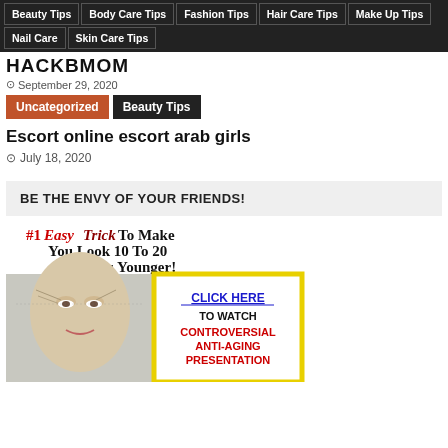Beauty Tips | Body Care Tips | Fashion Tips | Hair Care Tips | Make Up Tips | Nail Care | Skin Care Tips
HACKBMOM
September 29, 2020
Uncategorized
Beauty Tips
Escort online escort arab girls
July 18, 2020
BE THE ENVY OF YOUR FRIENDS!
[Figure (illustration): Advertisement banner: '#1 Easy Trick To Make You Look 10 To 20 Years Younger!' with a before/after face image and a 'Click Here To Watch Controversial Anti-Aging' call to action with yellow border]